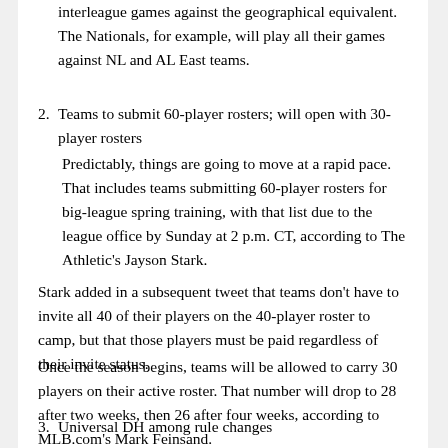interleague games against the geographical equivalent. The Nationals, for example, will play all their games against NL and AL East teams.
2. Teams to submit 60-player rosters; will open with 30-player rosters
Predictably, things are going to move at a rapid pace. That includes teams submitting 60-player rosters for big-league spring training, with that list due to the league office by Sunday at 2 p.m. CT, according to The Athletic's Jayson Stark.
Stark added in a subsequent tweet that teams don't have to invite all 40 of their players on the 40-player roster to camp, but that those players must be paid regardless of their invite status.
Once the season begins, teams will be allowed to carry 30 players on their active roster. That number will drop to 28 after two weeks, then 26 after four weeks, according to MLB.com's Mark Feinsand.
3. Universal DH among rule changes